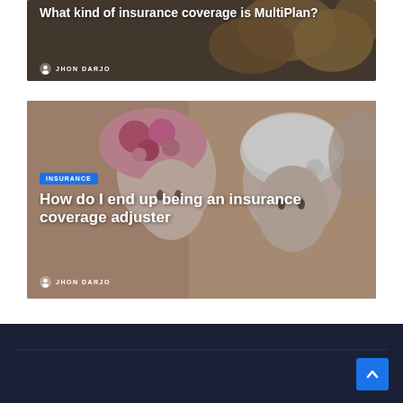[Figure (photo): Article card with dark background showing text overlay: 'What kind of insurance coverage is MultiPlan?' with author JHON DARJO]
What kind of insurance coverage is MultiPlan?
JHON DARJO
[Figure (photo): Article card with photo of mannequin heads wearing decorative headscarves/caps, pink and white. Text overlay includes INSURANCE badge, title 'How do I end up being an insurance coverage adjuster', and author JHON DARJO]
How do I end up being an insurance coverage adjuster
JHON DARJO